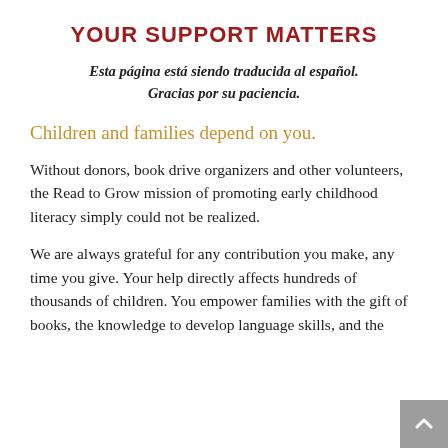YOUR SUPPORT MATTERS
Esta página está siendo traducida al español. Gracias por su paciencia.
Children and families depend on you.
Without donors, book drive organizers and other volunteers, the Read to Grow mission of promoting early childhood literacy simply could not be realized.
We are always grateful for any contribution you make, any time you give. Your help directly affects hundreds of thousands of children. You empower families with the gift of books, the knowledge to develop language skills, and the